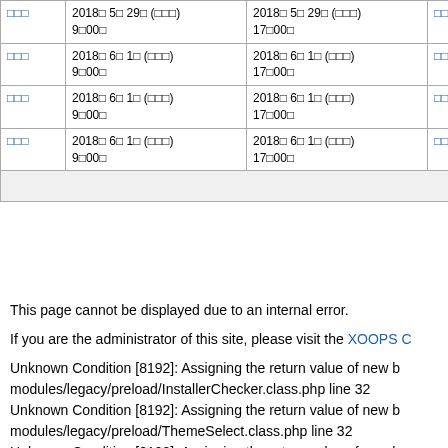|  |  |  |  |
| --- | --- | --- | --- |
| □□□ | 2018□ 5□ 29□ (□□□)
9□00□ | 2018□ 5□ 29□ (□□□)
17□00□ | □□□□ |
| □□□ | 2018□ 6□ 1□ (□□□)
9□00□ | 2018□ 6□ 1□ (□□□)
17□00□ | □□□□ |
| □□□ | 2018□ 6□ 1□ (□□□)
9□00□ | 2018□ 6□ 1□ (□□□)
17□00□ | □□□|| |
| □□□ | 2018□ 6□ 1□ (□□□)
9□00□ | 2018□ 6□ 1□ (□□□)
17□00□ | □□□□□ |
|  |  |  |  |
This page cannot be displayed due to an internal error.
If you are the administrator of this site, please visit the XOOPS C
Unknown Condition [8192]: Assigning the return value of new b modules/legacy/preload/InstallerChecker.class.php line 32
Unknown Condition [8192]: Assigning the return value of new b modules/legacy/preload/ThemeSelect.class.php line 32
Unknown Condition [8192]: Assigning the return value of new b modules/legacyRender/preload/Cacheclear.class.php line 26